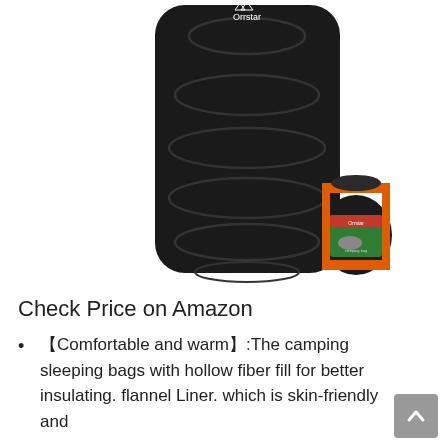[Figure (photo): Product photo of a black Orrstar sleeping bag laid flat showing quilted sections, alongside its compact black and orange stuff sack with a product label on the front.]
Check Price on Amazon
🔶Comfortable and warm🔶:The camping sleeping bags with hollow fiber fill for better insulating. flannel Liner. which is skin-friendly and